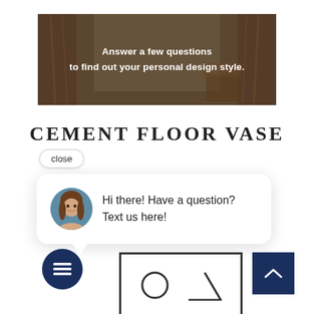[Figure (photo): Dark-tinted banner image showing an interior room with curtains and furniture, overlaid with white bold text: 'Answer a few questions to find out your personal design style.']
CEMENT FLOOR VASE
close
[Figure (screenshot): Chat widget popup showing a woman's avatar photo and text: 'Hi there! Have a question? Text us here!']
[Figure (screenshot): Dark navy circular chat icon button with message lines icon]
[Figure (screenshot): Dark navy square scroll-to-top button with upward chevron icon]
[Figure (illustration): Partial product image at bottom showing geometric shapes (circle and mountain/triangle outlines) in dark outline style]